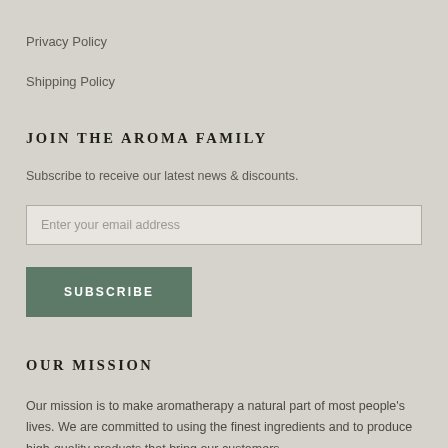Privacy Policy
Shipping Policy
JOIN THE AROMA FAMILY
Subscribe to receive our latest news & discounts.
Enter your email address
SUBSCRIBE
OUR MISSION
Our mission is to make aromatherapy a natural part of most people's lives. We are committed to using the finest ingredients and to produce high-quality products that bring our customers